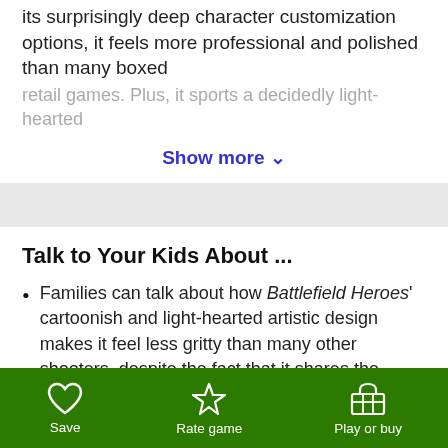its surprisingly deep character customization options, it feels more professional and polished than many boxed retail games. Plus, it sports a decidedly light-hearted
Show more ∨
Talk to Your Kids About ...
Families can talk about how Battlefield Heroes' cartoonish and light-hearted artistic design makes it feel less gritty than many other shooters, despite the fact that it shares the same basic objectives, mechanics, and controls as most games in its genre.
Show more +
Save   Rate game   Play or buy